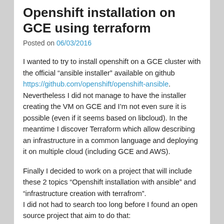Openshift installation on GCE using terraform
Posted on 06/03/2016
I wanted to try to install openshift on a GCE cluster with the official “ansible installer” available on github https://github.com/openshift/openshift-ansible. Nevertheless I did not manage to have the installer creating the VM on GCE and I’m not even sure it is possible (even if it seems based on libcloud). In the meantime I discover Terraform which allow describing an infrastructure in a common language and deploying it on multiple cloud (including GCE and AWS).
Finally I decided to work on a project that will include these 2 topics “Openshift installation with ansible” and “infrastructure creation with terrafrom”.
I did not had to search too long before I found an open source project that aim to do that:
https://github.com/christian-posta/openshift-terraform-ansible